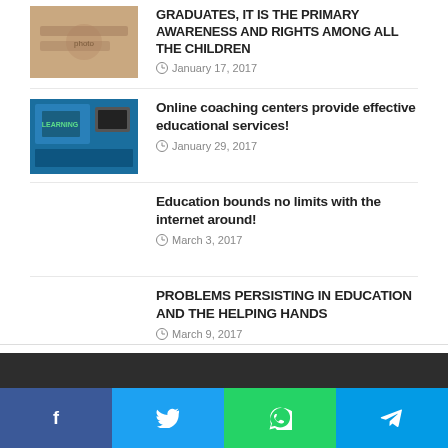GRADUATES, IT IS THE PRIMARY AWARENESS AND RIGHTS AMONG ALL THE CHILDREN
January 17, 2017
[Figure (photo): Students studying together at a table]
Online coaching centers provide effective educational services!
January 29, 2017
[Figure (photo): Laptop with learning chalkboard sign]
Education bounds no limits with the internet around!
March 3, 2017
PROBLEMS PERSISTING IN EDUCATION AND THE HELPING HANDS
March 9, 2017